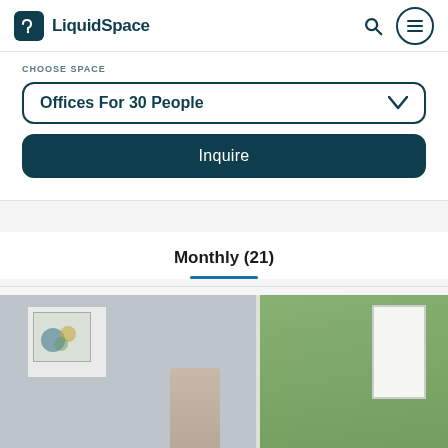LiquidSpace
CHOOSE SPACE
Offices For 30 People
Inquire
Monthly (21)
[Figure (photo): Interior photo of an office space showing a wall with framed artwork, a window with greenery outside, a person standing, and a whiteboard.]